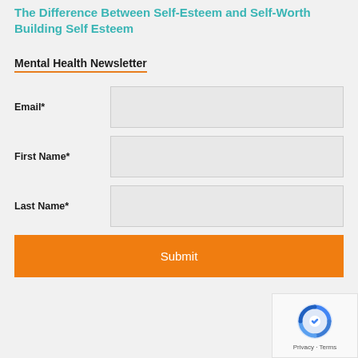The Difference Between Self-Esteem and Self-Worth Building Self Esteem
Mental Health Newsletter
Email*
First Name*
Last Name*
Submit
[Figure (other): reCAPTCHA widget showing Privacy - Terms text]